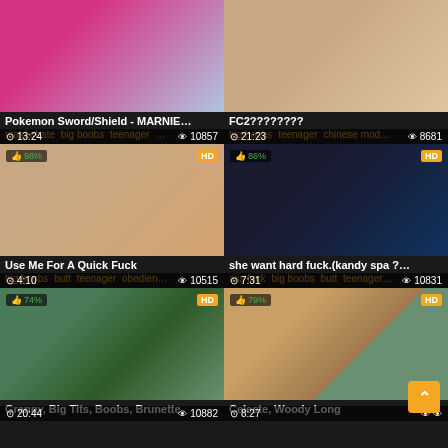[Figure (screenshot): Video thumbnail grid showing 6 adult video thumbnails in a 2-column layout with titles and tags]
Pokemon Sword/Shield - MARNIE...
masturbate big boobs teenager ...
FC2????????
big boobs teenager chinese mod...
Use Me For A Quick Fuck
big boobs butt teenager obedien...
she want hard fuck.(kandy spa ?...
ass fuck big boobs butt teenager...
Granny, Big Tits, Boobs, Brunette
Celeste, Woody Long